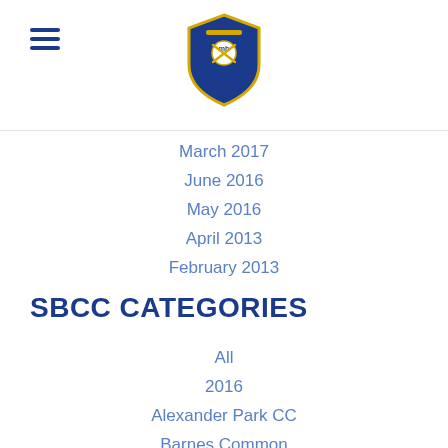SBCC Cricket Club logo and navigation header
March 2017
June 2016
May 2016
April 2013
February 2013
SBCC CATEGORIES
All
2016
Alexander Park CC
Barnes Common
Battersea Badgers
Chelsham Great Park
Churchleigh
Coronavirus